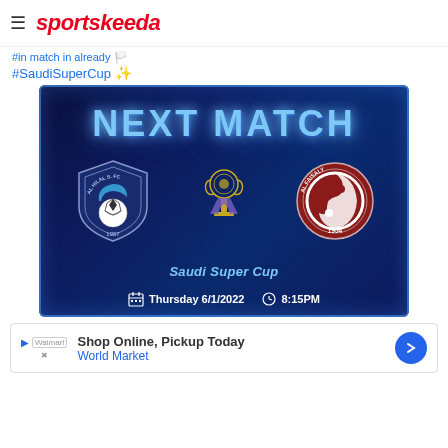≡ sportskeeda
#in match in already 🏳️ #SaudiSuperCup ✨
[Figure (infographic): Saudi Super Cup Next Match promo graphic on dark blue background showing Al-Hilal S.FC shield logo vs Al-Faisaly circular logo with trophy, text: NEXT MATCH, Saudi Super Cup, Thursday 6/1/2022, 8:15PM]
Shop Online, Pickup Today World Market